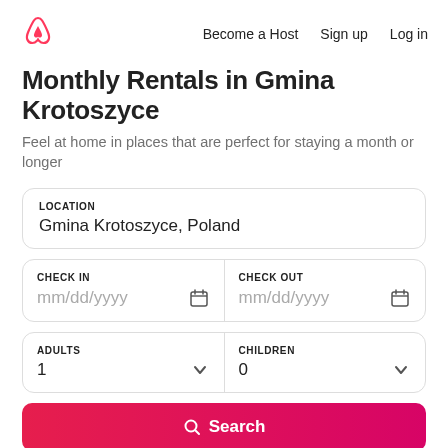[Figure (logo): Airbnb logo — pink/red triangular loop mark]
Become a Host   Sign up   Log in
Monthly Rentals in Gmina Krotoszyce
Feel at home in places that are perfect for staying a month or longer
LOCATION
Gmina Krotoszyce, Poland
CHECK IN
mm/dd/yyyy
CHECK OUT
mm/dd/yyyy
ADULTS
1
CHILDREN
0
Search